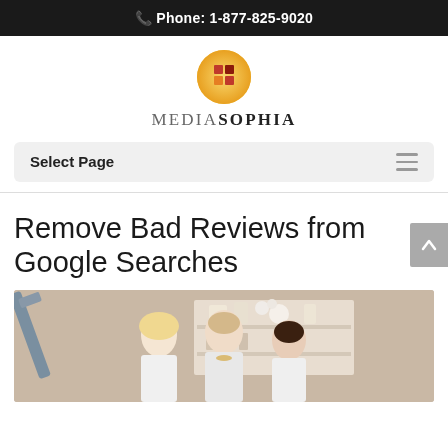Phone: 1-877-825-9020
[Figure (logo): MediaSophia logo: circular orange/gold badge with colored square tiles, above the brand name MEDIASOPHIA]
MEDIASOPHIA
Select Page
Remove Bad Reviews from Google Searches
[Figure (photo): Three women in white medical coats standing in a clinic room with shelves of products in the background. A treatment lamp/device is visible on the left.]